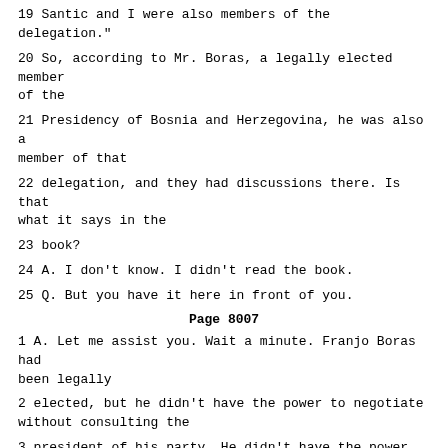19 Santic and I were also members of the delegation."
20 So, according to Mr. Boras, a legally elected member of the
21 Presidency of Bosnia and Herzegovina, he was also a member of that
22 delegation, and they had discussions there. Is that what it says in the
23 book?
24 A. I don't know. I didn't read the book.
25 Q. But you have it here in front of you.
Page 8007
1 A. Let me assist you. Wait a minute. Franjo Boras had been legally
2 elected, but he didn't have the power to negotiate without consulting the
3 president of his party. He didn't have the power to negotiate with the
4 Serbian side. On the other hand, at that time it was only Milosevic who
5 had acted against us in Croatia and in Bosnia. And